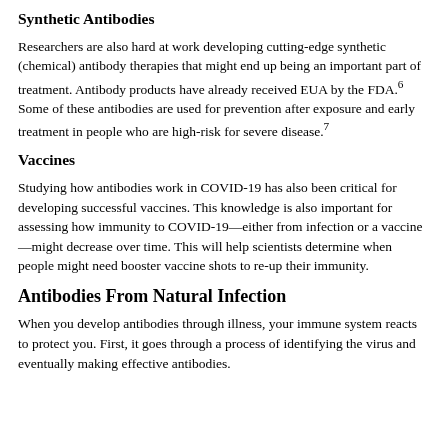Synthetic Antibodies
Researchers are also hard at work developing cutting-edge synthetic (chemical) antibody therapies that might end up being an important part of treatment. Antibody products have already received EUA by the FDA.6 Some of these antibodies are used for prevention after exposure and early treatment in people who are high-risk for severe disease.7
Vaccines
Studying how antibodies work in COVID-19 has also been critical for developing successful vaccines. This knowledge is also important for assessing how immunity to COVID-19—either from infection or a vaccine—might decrease over time. This will help scientists determine when people might need booster vaccine shots to re-up their immunity.
Antibodies From Natural Infection
When you develop antibodies through illness, your immune system reacts to protect you. First, it goes through a process of identifying the virus and eventually making effective antibodies.